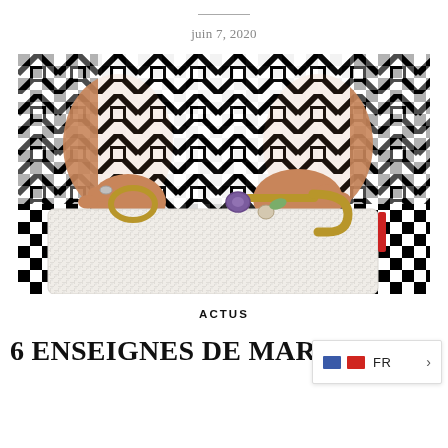juin 7, 2020
[Figure (photo): Close-up photo of a person wearing a black-and-white geometric patterned outfit, holding a white woven clutch bag with gold hardware and decorative jeweled charm.]
ACTUS
6 ENSEIGNES DE MAR